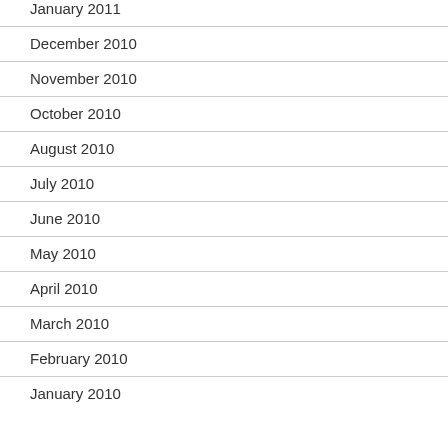January 2011
December 2010
November 2010
October 2010
August 2010
July 2010
June 2010
May 2010
April 2010
March 2010
February 2010
January 2010